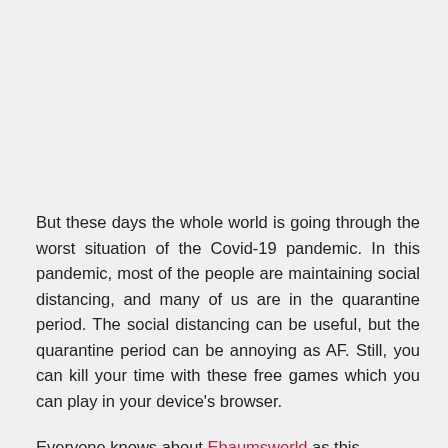But these days the whole world is going through the worst situation of the Covid-19 pandemic. In this pandemic, most of the people are maintaining social distancing, and many of us are in the quarantine period. The social distancing can be useful, but the quarantine period can be annoying as AF. Still, you can kill your time with these free games which you can play in your device's browser.
Everyone knows about Ebaumsworld as this